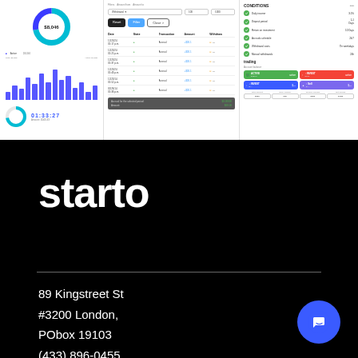[Figure (screenshot): Financial dashboard application screenshot showing donut chart, bar chart, transaction table, conditions panel with checkmarks, and trading section]
starto
89 Kingstreet St
#3200 London,
PObox 19103
(433) 896-0455